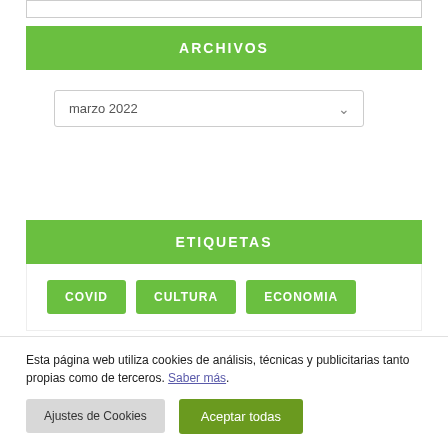ARCHIVOS
marzo 2022
ETIQUETAS
COVID
CULTURA
ECONOMIA
Esta página web utiliza cookies de análisis, técnicas y publicitarias tanto propias como de terceros. Saber más.
Ajustes de Cookies
Aceptar todas